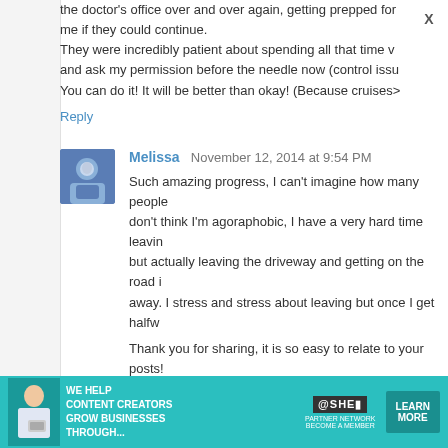the doctor's office over and over again, getting prepped for me if they could continue. They were incredibly patient about spending all that time v and ask my permission before the needle now (control issu You can do it! It will be better than okay! (Because cruises> Reply
Melissa  November 12, 2014 at 9:54 PM
Such amazing progress, I can't imagine how many people don't think I'm agoraphobic, I have a very hard time leavin but actually leaving the driveway and getting on the road i away. I stress and stress about leaving but once I get halfw
Thank you for sharing, it is so easy to relate to your posts!
Reply
Anonymous  November 12, 2014 at 9:56 PM
Anxiety is SO HARD! It's awesome that you are pushing bo our comfort zones. I knew you had anxiety, but I've talked t there and interact. I'm so impressed:) You go, Jen!
My introvertedness has gotten more and more pron
[Figure (infographic): Advertisement banner for SHE Partner Network. Teal background with a woman using a laptop. Text: WE HELP CONTENT CREATORS GROW BUSINESSES THROUGH... with @SHE logo and LEARN MORE button.]